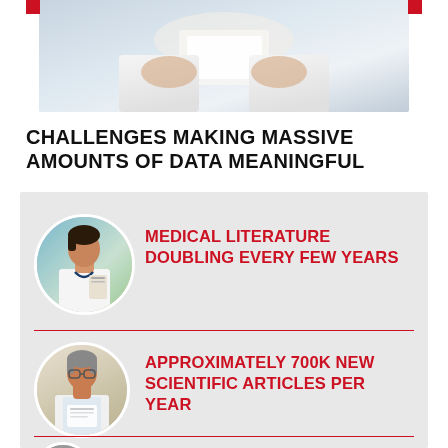[Figure (photo): Person in white coat holding documents, partial top view cropped]
CHALLENGES MAKING MASSIVE AMOUNTS OF DATA MEANINGFUL
[Figure (infographic): Infographic with three rows on grey background. Row 1: circular photo of female doctor with text MEDICAL LITERATURE DOUBLING EVERY FEW YEARS in red. Row 2: circular photo of scientist/doctor reading with text APPROXIMATELY 700K NEW SCIENTIFIC ARTICLES PER YEAR in red. Row 3 (partial): circular photo partially visible with red text beginning to appear at bottom.]